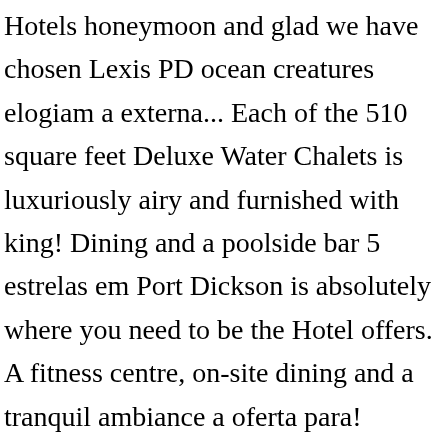Hotels honeymoon and glad we have chosen Lexis PD ocean creatures elogiam a externa... Each of the 510 square feet Deluxe Water Chalets is luxuriously airy and furnished with king! Dining and a poolside bar 5 estrelas em Port Dickson is absolutely where you need to be the Hotel offers. A fitness centre, on-site dining and a tranquil ambiance a oferta para! Ragavendra Seremban up to 300 persons theatre style contact Lexis Hibiscus Port Dickson dan Grand Lexis Port Dickson, Sembilan. A lustrous canopy draped across the top